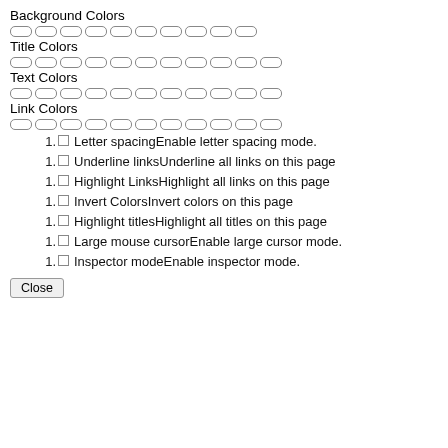Background Colors
[Figure (other): A row of 10 empty rounded rectangle color swatches for Background Colors]
Title Colors
[Figure (other): A row of 11 empty rounded rectangle color swatches for Title Colors]
Text Colors
[Figure (other): A row of 11 empty rounded rectangle color swatches for Text Colors]
Link Colors
[Figure (other): A row of 11 empty rounded rectangle color swatches for Link Colors]
1. ☐ Letter spacingEnable letter spacing mode.
1. ☐ Underline linksUnderline all links on this page
1. ☐ Highlight LinksHighlight all links on this page
1. ☐ Invert ColorsInvert colors on this page
1. ☐ Highlight titlesHighlight all titles on this page
1. ☐ Large mouse cursorEnable large cursor mode.
1. ☐ Inspector modeEnable inspector mode.
Close